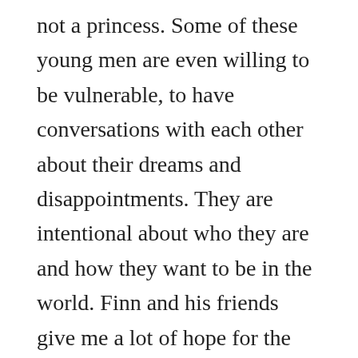not a princess. Some of these young men are even willing to be vulnerable, to have conversations with each other about their dreams and disappointments. They are intentional about who they are and how they want to be in the world. Finn and his friends give me a lot of hope for the future and so do a couple of other people out there in the wider world.
One of them is Glennon Doyle Melton. She's on the other side of the country in Florida, but I share a lot of her work on Facebook and sometimes link to her through my blog. About